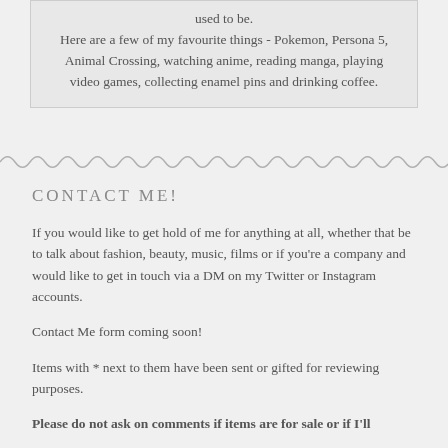used to be. Here are a few of my favourite things - Pokemon, Persona 5, Animal Crossing, watching anime, reading manga, playing video games, collecting enamel pins and drinking coffee.
CONTACT ME!
If you would like to get hold of me for anything at all, whether that be to talk about fashion, beauty, music, films or if you're a company and would like to get in touch via a DM on my Twitter or Instagram accounts.
Contact Me form coming soon!
Items with * next to them have been sent or gifted for reviewing purposes.
Please do not ask on comments if items are for sale or if I'll